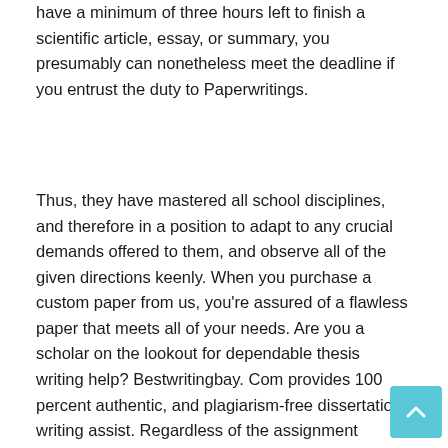have a minimum of three hours left to finish a scientific article, essay, or summary, you presumably can nonetheless meet the deadline if you entrust the duty to Paperwritings.
Thus, they have mastered all school disciplines, and therefore in a position to adapt to any crucial demands offered to them, and observe all of the given directions keenly. When you purchase a custom paper from us, you're assured of a flawless paper that meets all of your needs. Are you a scholar on the lookout for dependable thesis writing help? Bestwritingbay. Com provides 100 percent authentic, and plagiarism-free dissertation writing assist. Regardless of the assignment subject, you can be assured with our pro thesis writers. Professional-quality writing can help your corporation to compete with larger companies and put your best foot ahead to your shoppers and prospects.